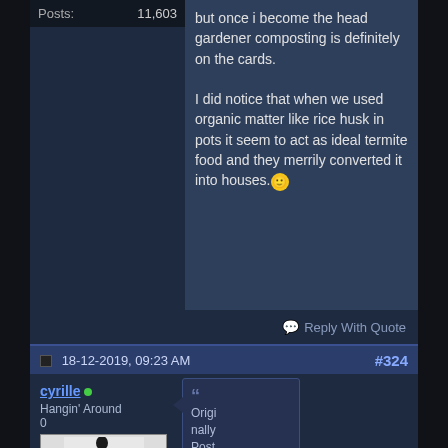| Posts: | 11,603 |
| --- | --- |
but once i become the head gardener composting is definitely on the cards.

I did notice that when we used organic matter like rice husk in pots it seem to act as ideal termite food and they merrily converted it into houses. 🙂
Reply With Quote
18-12-2019, 09:23 AM  #324
cyrille  Hangin' Around
Originally Posted by NamPikToot